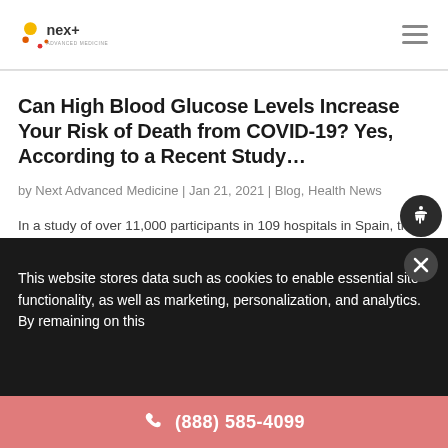nex+ Advanced Medicine
Can High Blood Glucose Levels Increase Your Risk of Death from COVID-19? Yes, According to a Recent Study…
by Next Advanced Medicine | Jan 21, 2021 | Blog, Health News
In a study of over 11,000 participants in 109 hospitals in Spain, those with glucose values greater than 140 at
This website stores data such as cookies to enable essential site functionality, as well as marketing, personalization, and analytics. By remaining on this
(888) 585-4099